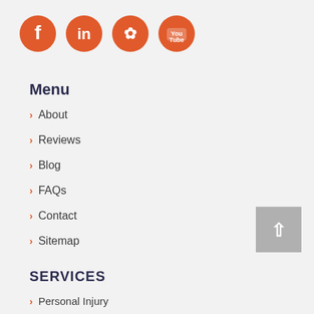[Figure (illustration): Four orange circular social media icons: Facebook, LinkedIn, Yelp, YouTube]
Menu
> About
> Reviews
> Blog
> FAQs
> Contact
> Sitemap
SERVICES
> Personal Injury